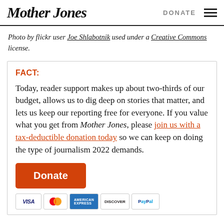Mother Jones | DONATE
Photo by flickr user Joe Shlabotnik used under a Creative Commons license.
FACT: Today, reader support makes up about two-thirds of our budget, allows us to dig deep on stories that matter, and lets us keep our reporting free for everyone. If you value what you get from Mother Jones, please join us with a tax-deductible donation today so we can keep on doing the type of journalism 2022 demands.